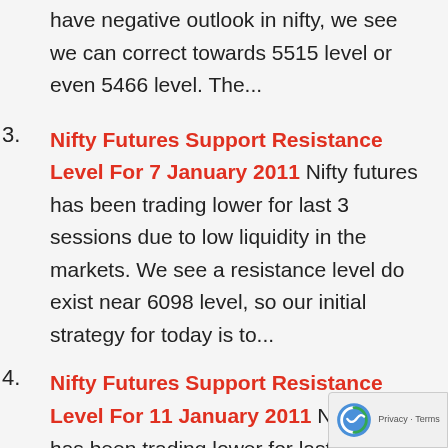have negative outlook in nifty, we see we can correct towards 5515 level or even 5466 level. The...
Nifty Futures Support Resistance Level For 7 January 2011 Nifty futures has been trading lower for last 3 sessions due to low liquidity in the markets. We see a resistance level do exist near 6098 level, so our initial strategy for today is to...
Nifty Futures Support Resistance Level For 11 January 2011 Nifty futures has been trading lower for last 5 sessions to negative news of inflation and fear of